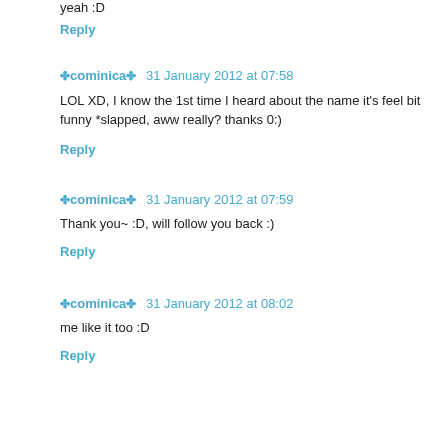yeah :D
Reply
✤cominica✤  31 January 2012 at 07:58
LOL XD, I know the 1st time I heard about the name it's feel bit funny *slapped, aww really? thanks 0:)
Reply
✤cominica✤  31 January 2012 at 07:59
Thank you~ :D, will follow you back :)
Reply
✤cominica✤  31 January 2012 at 08:02
me like it too :D
Reply